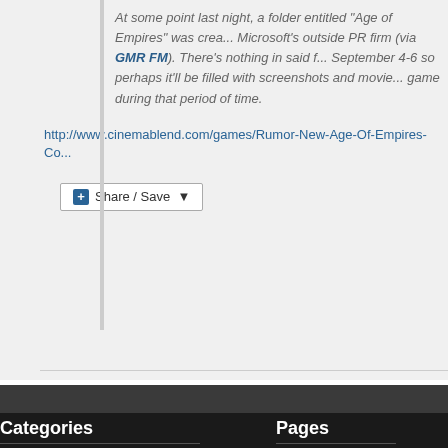At some point last night, a folder entitled "Age of Empires" was created by Microsoft's outside PR firm (via GMR FM). There's nothing in said folder. September 4-6 so perhaps it'll be filled with screenshots and movie... game during that period of time.
http://www.cinemablend.com/games/Rumor-New-Age-Of-Empires-Co...
[Figure (other): Share / Save button widget with blue plus icon]
Categories
Pages
Adventure Smash
About
Age Community
Ensemble Stu...